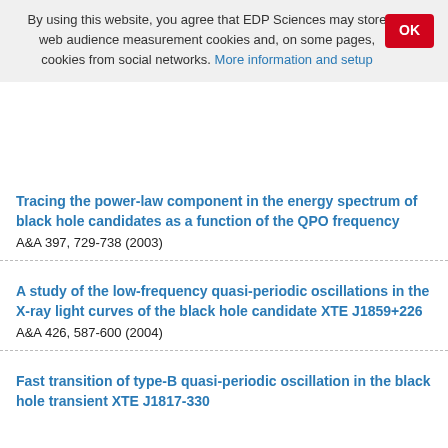By using this website, you agree that EDP Sciences may store web audience measurement cookies and, on some pages, cookies from social networks. More information and setup
Tracing the power-law component in the energy spectrum of black hole candidates as a function of the QPO frequency
A&A 397, 729-738 (2003)
A study of the low-frequency quasi-periodic oscillations in the X-ray light curves of the black hole candidate XTE J1859+226
A&A 426, 587-600 (2004)
Fast transition of type-B quasi-periodic oscillation in the black hole transient XTE J1817-330
A&A 541, A6 (2012)
Bookmarking